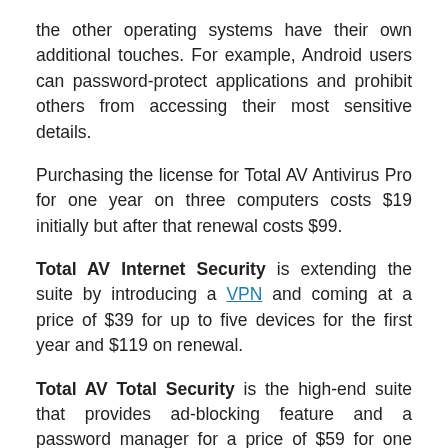the other operating systems have their own additional touches. For example, Android users can password-protect applications and prohibit others from accessing their most sensitive details.
Purchasing the license for Total AV Antivirus Pro for one year on three computers costs $19 initially but after that renewal costs $99.
Total AV Internet Security is extending the suite by introducing a VPN and coming at a price of $39 for up to five devices for the first year and $119 on renewal.
Total AV Total Security is the high-end suite that provides ad-blocking feature and a password manager for a price of $59 for one year and $149.99 on renewal.
Price wise, except for the first year, this software doesn't